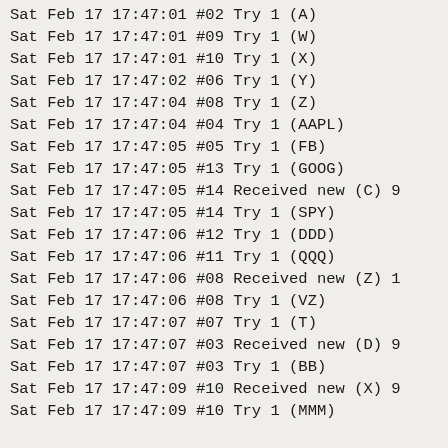Sat Feb 17 17:47:01 #02 Try 1 (A)
Sat Feb 17 17:47:01 #09 Try 1 (W)
Sat Feb 17 17:47:01 #10 Try 1 (X)
Sat Feb 17 17:47:02 #06 Try 1 (Y)
Sat Feb 17 17:47:04 #08 Try 1 (Z)
Sat Feb 17 17:47:04 #04 Try 1 (AAPL)
Sat Feb 17 17:47:05 #05 Try 1 (FB)
Sat Feb 17 17:47:05 #13 Try 1 (GOOG)
Sat Feb 17 17:47:05 #14 Received new (C) 9
Sat Feb 17 17:47:05 #14 Try 1 (SPY)
Sat Feb 17 17:47:06 #12 Try 1 (DDD)
Sat Feb 17 17:47:06 #11 Try 1 (QQQ)
Sat Feb 17 17:47:06 #08 Received new (Z) 1
Sat Feb 17 17:47:06 #08 Try 1 (VZ)
Sat Feb 17 17:47:07 #07 Try 1 (T)
Sat Feb 17 17:47:07 #03 Received new (D) 9
Sat Feb 17 17:47:07 #03 Try 1 (BB)
Sat Feb 17 17:47:09 #10 Received new (X) 9
Sat Feb 17 17:47:09 #10 Try 1 (MMM)